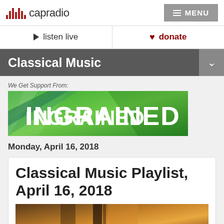capradio | MENU
listen live | donate
Classical Music
We Get Support From:
[Figure (logo): Ingrained sponsor banner — green and teal diagonal background with large white text reading INGRAINED]
Monday, April 16, 2018
Classical Music Playlist, April 16, 2018
[Figure (photo): Close-up photo of a cello or violin body, warm brown wood tones]